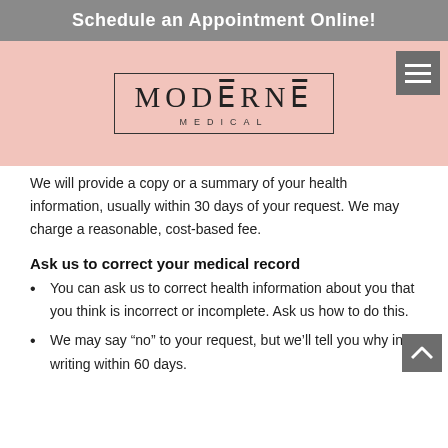Schedule an Appointment Online!
[Figure (logo): Moderne Medical logo in a rectangular border with pink background and a hamburger menu icon]
We will provide a copy or a summary of your health information, usually within 30 days of your request. We may charge a reasonable, cost-based fee.
Ask us to correct your medical record
You can ask us to correct health information about you that you think is incorrect or incomplete. Ask us how to do this.
We may say “no” to your request, but we’ll tell you why in writing within 60 days.